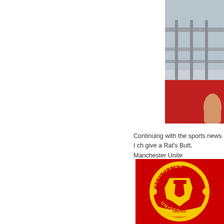[Figure (photo): Partial photo cropped on the right side showing metal railings and a red surface with a hand visible, likely a stadium or transportation setting.]
Continuing with the sports news I ch give a Rat's Butt, Manchester Unite
[Figure (logo): Manchester United Football Club crest/logo on a red background. Yellow circular badge with red devil and 'Manchester United' text.]